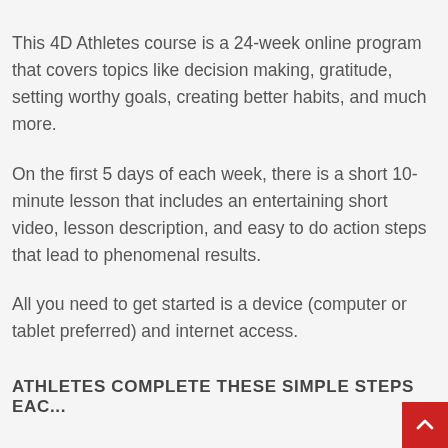This 4D Athletes course is a 24-week online program that covers topics like decision making, gratitude, setting worthy goals, creating better habits, and much more.
On the first 5 days of each week, there is a short 10-minute lesson that includes an entertaining short video, lesson description, and easy to do action steps that lead to phenomenal results.
All you need to get started is a device (computer or tablet preferred) and internet access.
ATHLETES COMPLETE THESE SIMPLE STEPS EAC...